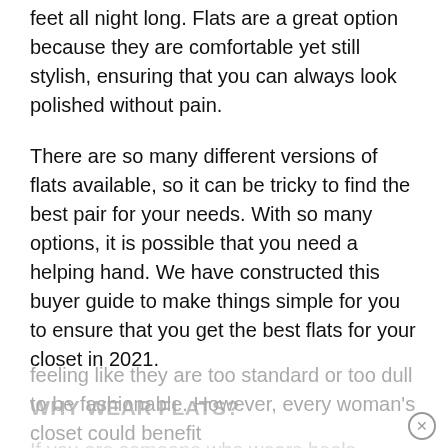feet all night long. Flats are a great option because they are comfortable yet still stylish, ensuring that you can always look polished without pain.
There are so many different versions of flats available, so it can be tricky to find the best pair for your needs. With so many options, it is possible that you need a helping hand. We have constructed this buyer guide to make things simple for you to ensure that you get the best flats for your closet in 2021.
WHY WEAR FLATS?
If you are someone who wears heels regularly, then you might not see the benefits of flats. There are a lot of misconceptions surrounding flats, with some women feeling like they are too standard or too dull to be fashionable. However, every woman's closet could benefit